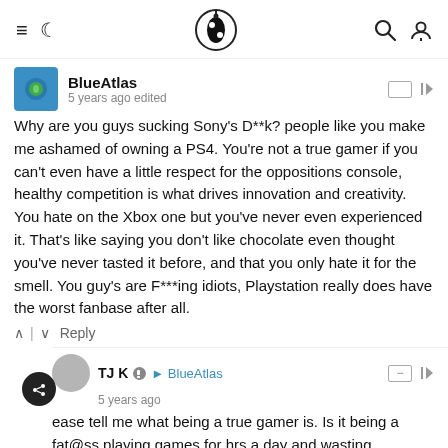Navigation bar with hamburger menu, moon icon, site logo, search icon, user icon
BlueAtlas
5 years ago edited
Why are you guys sucking Sony's D**k? people like you make me ashamed of owning a PS4. You're not a true gamer if you can't even have a little respect for the oppositions console, healthy competition is what drives innovation and creativity. You hate on the Xbox one but you've never even experienced it. That's like saying you don't like chocolate even thought you've never tasted it before, and that you only hate it for the smell. You guy's are F***ing idiots, Playstation really does have the worst fanbase after all.
Reply
TJ K → BlueAtlas
5 years ago
ease tell me what being a true gamer is. Is it being a fat@ss playing games for hrs a day and wasting hundrends of $ every year for new games hardware/consoles?
There is nothing wrong with video games. But being a "true"